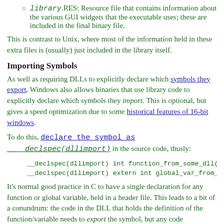library.RES: Resource file that contains information about the various GUI widgets that the executable uses; these are included in the final binary file.
This is contrast to Unix, where most of the information held in these extra files is (usually) just included in the library itself.
Importing Symbols
As well as requiring DLLs to explicitly declare which symbols they export, Windows also allows binaries that use library code to explicitly declare which symbols they import. This is optional, but gives a speed optimization due to some historical features of 16-bit windows.
To do this, declare the symbol as __declspec(dllimport) in the source code, thusly:
__declspec(dllimport) int function_from_some_dll(in
__declspec(dllimport) extern int global_var_from_so
It's normal good practice in C to have a single declaration for any function or global variable, held in a header file. This leads to a bit of a conundrum: the code in the DLL that holds the definition of the function/variable needs to export the symbol, but any code